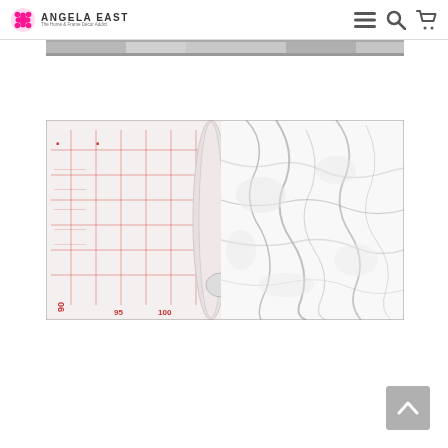Angela East - The Home & Frame Decor Addict
[Figure (photo): Top navigation bar with Angela East logo (pink cross/plus icon), hamburger menu, search icon, and shopping cart icon on white background]
[Figure (photo): A roll of marble-patterned adhesive vinyl/contact paper partially unrolled, showing the white marble texture with grey veining on the front side, and the measurement grid (red grid lines with numbers 90, 95, 100) on the backing paper, laid flat on a surface]